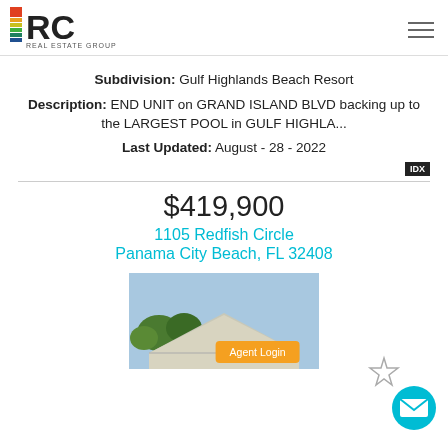[Figure (logo): RC Real Estate Group logo with colored squares stacked on left and RC letters]
Subdivision: Gulf Highlands Beach Resort
Description: END UNIT on GRAND ISLAND BLVD backing up to the LARGEST POOL in GULF HIGHLA...
Last Updated: August - 28 - 2022
IDX
$419,900
1105 Redfish Circle
Panama City Beach, FL 32408
[Figure (photo): Exterior photo of a house roof with blue sky and trees visible]
Agent Login
[Figure (illustration): Star icon outline and circular email button in cyan/teal]